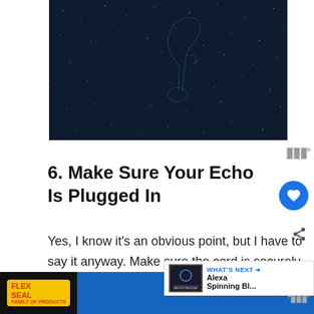[Figure (photo): Dark night sky image with faint outline of a musical note or figure, many white dots like stars on a deep navy/dark blue background]
6. Make Sure Your Echo Is Plugged In
Yes, I know it's an obvious point, but I have to say it anyway. Make sure the cord is securely connected to the Echo and the wall so... may also want to test the wall socket with
[Figure (screenshot): WHAT'S NEXT overlay with thumbnail showing Alexa Blue Light and title Alexa Spinning Bl...]
[Figure (advertisement): Flex Seal advertisement banner at bottom with yellow logo and blue background, showing skip option ▷✕]